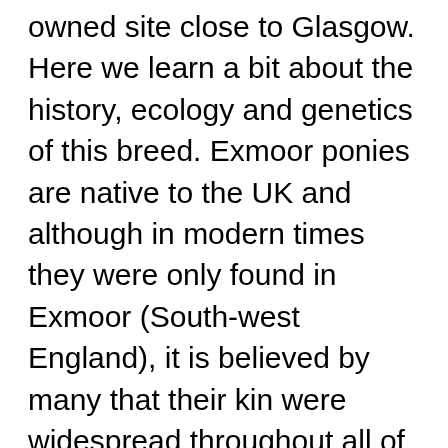owned site close to Glasgow. Here we learn a bit about the history, ecology and genetics of this breed. Exmoor ponies are native to the UK and although in modern times they were only found in Exmoor (South-west England), it is believed by many that their kin were widespread throughout all of the UK in ancient times. Without need of horseshoes, stables or assisted foaling, Exmoor ponies truly are a feral breed which could help promote biodiversity through their love of coarse